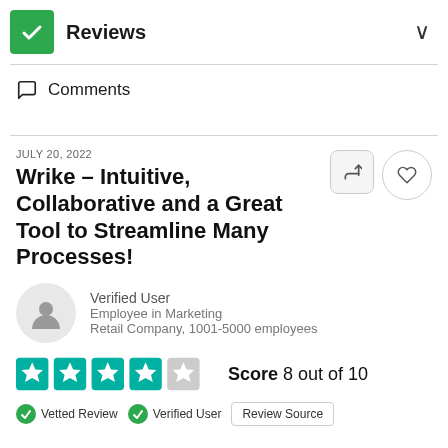Reviews
Comments
JULY 20, 2022
Wrike – Intuitive, Collaborative and a Great Tool to Streamline Many Processes!
Verified User
Employee in Marketing
Retail Company, 1001-5000 employees
Score 8 out of 10
Vetted Review   Verified User   Review Source